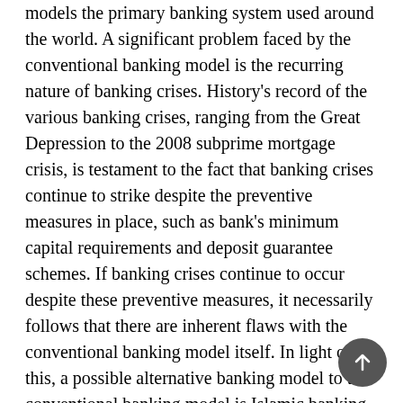models the primary banking system used around the world. A significant problem faced by the conventional banking model is the recurring nature of banking crises. History's record of the various banking crises, ranging from the Great Depression to the 2008 subprime mortgage crisis, is testament to the fact that banking crises continue to strike despite the preventive measures in place, such as bank's minimum capital requirements and deposit guarantee schemes. If banking crises continue to occur despite these preventive measures, it necessarily follows that there are inherent flaws with the conventional banking model itself. In light of this, a possible alternative banking model to the conventional banking model is Islamic banking. To date, Islamic banking has been a niche market, predominantly serving Muslim investors. This paper seeks to explore the possibility of Islamic banking being more than just a niche market and